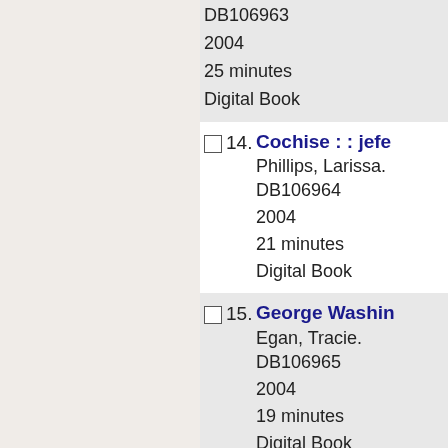DB106963
2004
25 minutes
Digital Book
14. Cochise : : jefe
Phillips, Larissa.
DB106964
2004
21 minutes
Digital Book
15. George Washin
Egan, Tracie.
DB106965
2004
19 minutes
Digital Book
16. Sweet justice : Montgomery Br
Rockliff, Mara.